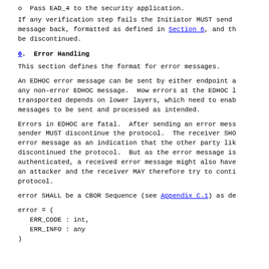o  Pass EAD_4 to the security application.
If any verification step fails the Initiator MUST send
message back, formatted as defined in Section 6, and th
be discontinued.
6.  Error Handling
This section defines the format for error messages.
An EDHOC error message can be sent by either endpoint a
any non-error EDHOC message.  How errors at the EDHOC l
transported depends on lower layers, which need to enab
messages to be sent and processed as intended.
Errors in EDHOC are fatal.  After sending an error mess
sender MUST discontinue the protocol.  The receiver SHO
error message as an indication that the other party lik
discontinued the protocol.  But as the error message is
authenticated, a received error message might also have
an attacker and the receiver MAY therefore try to conti
protocol.
error SHALL be a CBOR Sequence (see Appendix C.1) as de
error = (
  ERR_CODE : int,
  ERR_INFO : any
)